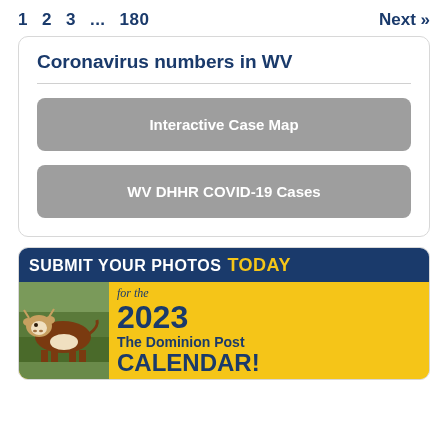1  2  3  ...  180   Next »
Coronavirus numbers in WV
Interactive Case Map
WV DHHR COVID-19 Cases
[Figure (photo): Advertisement banner: 'SUBMIT YOUR PHOTOS TODAY for the 2023 The Dominion Post CALENDAR!' with a photo of a brown and white Hereford cow on grass.]